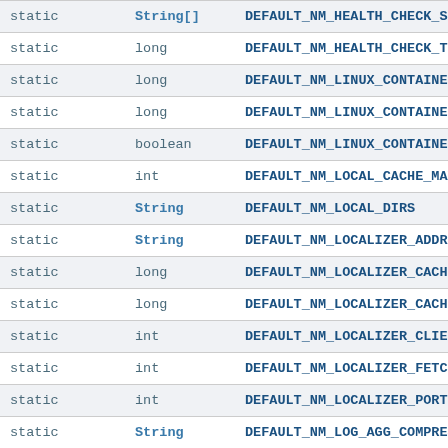| Modifier | Type | Name |
| --- | --- | --- |
| static | String[] | DEFAULT_NM_HEALTH_CHECK_SCRIPTS |
| static | long | DEFAULT_NM_HEALTH_CHECK_TIMEOUT |
| static | long | DEFAULT_NM_LINUX_CONTAINER_CGROUP (1) |
| static | long | DEFAULT_NM_LINUX_CONTAINER_CGROUP (2) |
| static | boolean | DEFAULT_NM_LINUX_CONTAINER_CGROUP (3) |
| static | int | DEFAULT_NM_LOCAL_CACHE_MAX_FILES |
| static | String | DEFAULT_NM_LOCAL_DIRS |
| static | String | DEFAULT_NM_LOCALIZER_ADDRESS |
| static | long | DEFAULT_NM_LOCALIZER_CACHE_CLEAN |
| static | long | DEFAULT_NM_LOCALIZER_CACHE_TARGET |
| static | int | DEFAULT_NM_LOCALIZER_CLIENT_THREADS |
| static | int | DEFAULT_NM_LOCALIZER_FETCH_THREADS |
| static | int | DEFAULT_NM_LOCALIZER_PORT |
| static | String | DEFAULT_NM_LOG_AGG_COMPRESSION_T |
| static | int | DEFAULT_NM_LOG_AGGREGATION_NUM_ |